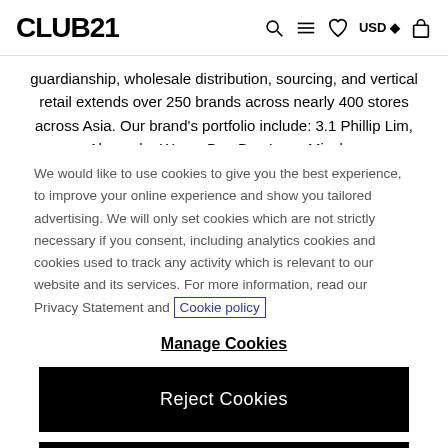CLUB21 [navigation icons: search, menu, wishlist, USD, bag]
guardianship, wholesale distribution, sourcing, and vertical retail extends over 250 brands across nearly 400 stores across Asia. Our brand's portfolio include: 3.1 Phillip Lim, Alexander Wang, Bao Bao Issey Miyake,
We would like to use cookies to give you the best experience, to improve your online experience and show you tailored advertising. We will only set cookies which are not strictly necessary if you consent, including analytics cookies and cookies used to track any activity which is relevant to our website and its services. For more information, read our Privacy Statement and Cookie policy
Manage Cookies
Reject Cookies
Accept Cookies